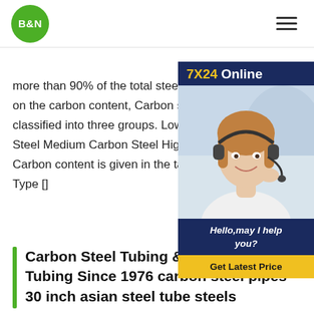B&N
more than 90% of the total steel produ... on the carbon content, Carbon steels a... classified into three groups. Low Carbo... Steel Medium Carbon Steel High Carb... Carbon content is given in the table be... Type []
[Figure (photo): Customer service advertisement box with '7X24 Online' header, photo of female customer service representative with headset, text 'Hello, may I help you?' and yellow 'Get Latest Price' button on dark navy background]
Carbon Steel Tubing & Pipe - Steel Tubing Since 1976 carbon steel pipes 30 inch asian steel tube steels
In addition to the wide variety of carbon steel tubing and pipe products, we offer services such as